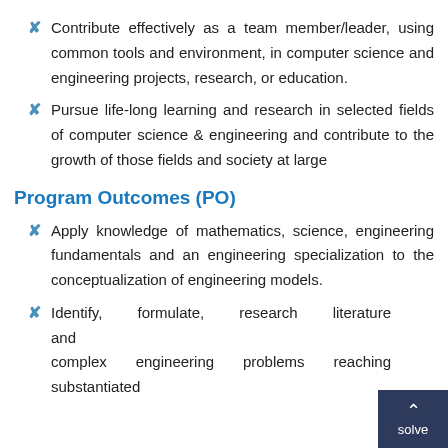Contribute effectively as a team member/leader, using common tools and environment, in computer science and engineering projects, research, or education.
Pursue life-long learning and research in selected fields of computer science & engineering and contribute to the growth of those fields and society at large
Program Outcomes (PO)
Apply knowledge of mathematics, science, engineering fundamentals and an engineering specialization to the conceptualization of engineering models.
Identify, formulate, research literature and solve complex engineering problems reaching substantiated